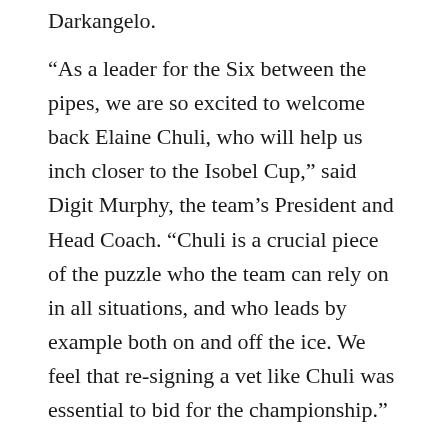Darkangelo.
“As a leader for the Six between the pipes, we are so excited to welcome back Elaine Chuli, who will help us inch closer to the Isobel Cup,” said Digit Murphy, the team’s President and Head Coach. “Chuli is a crucial piece of the puzzle who the team can rely on in all situations, and who leads by example both on and off the ice. We feel that re-signing a vet like Chuli was essential to bid for the championship.”
Prior to beginning her pro journey, Chuli played collegiate hockey in the NCAA with the Connecticut Huskies. Through four seasons, she became the all-time saves leader for both the Hockey East conference and the Huskies women’s hockey program. Throughout 102